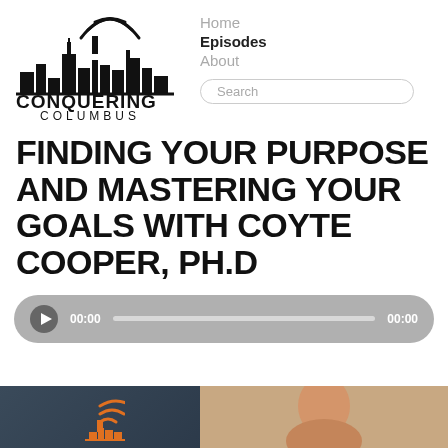[Figure (logo): Conquering Columbus podcast logo — city skyline silhouette with radio waves above, bold text CONQUERING COLUMBUS]
Home  Episodes  About  Search
FINDING YOUR PURPOSE AND MASTERING YOUR GOALS WITH COYTE COOPER, PH.D
[Figure (other): Audio player with play button, time 00:00 on both ends, and progress bar on gray rounded background]
[Figure (photo): Thumbnail strip: left side dark background with orange podcast logo icon; right side shows cropped photo of a person's face]